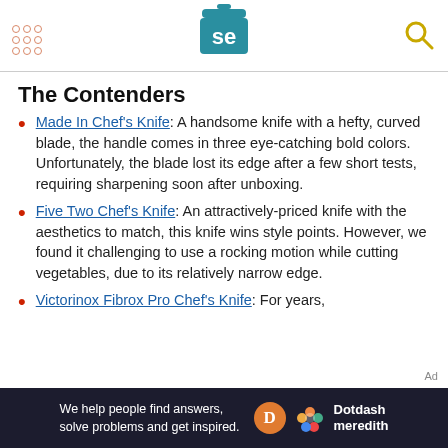Serious Eats header with logo and navigation
The Contenders
Made In Chef's Knife: A handsome knife with a hefty, curved blade, the handle comes in three eye-catching bold colors. Unfortunately, the blade lost its edge after a few short tests, requiring sharpening soon after unboxing.
Five Two Chef's Knife: An attractively-priced knife with the aesthetics to match, this knife wins style points. However, we found it challenging to use a rocking motion while cutting vegetables, due to its relatively narrow edge.
Victorinox Fibrox Pro Chef's Knife: For years,
[Figure (logo): Dotdash Meredith advertisement banner at the bottom of the page]